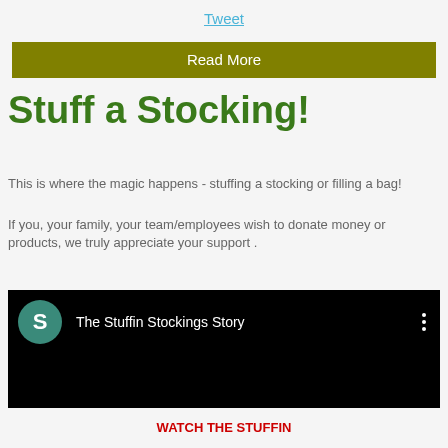Tweet
Read More
Stuff a Stocking!
This is where the magic happens - stuffing a stocking or filling a bag!
If you, your family, your team/employees wish to donate money or products, we truly appreciate your support .
[Figure (screenshot): YouTube-style video embed showing a dark background with a teal circular avatar with letter S, titled 'The Stuffin Stockings Story' with a three-dot menu icon on the right]
WATCH THE STUFFIN